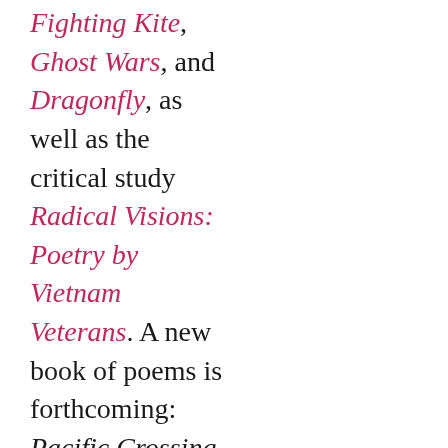Fighting Kite, Ghost Wars, and Dragonfly, as well as the critical study Radical Visions: Poetry by Vietnam Veterans. A new book of poems is forthcoming: Pacific Crossing.
I play bass guitar and lead guitar; I also love to bang on the drums! And if you couldn't already tell from the color scheme around here, my favorite color is blue, in all its dynamic shades and flavors: cobalt, electric, royal, robin's-